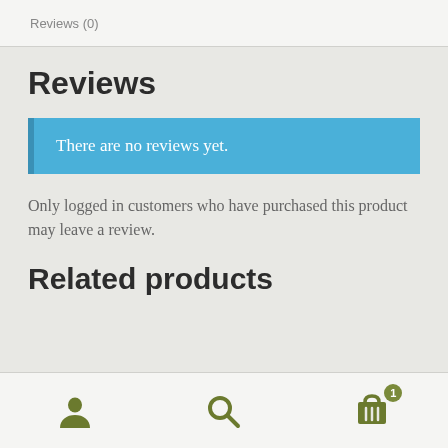Reviews (0)
Reviews
There are no reviews yet.
Only logged in customers who have purchased this product may leave a review.
Related products
User icon, Search icon, Cart icon with badge 1